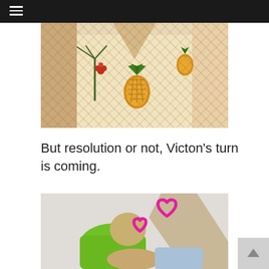☰ (hamburger menu)
[Figure (photo): Close-up photo of a person wearing a Hawaiian-style shirt with pineapple and palm tree print pattern in cream, green, and red colors]
But resolution or not, Victon's turn is coming.
[Figure (photo): Photo of two people; one person in a lime green top bending over another person lying down, with pink heart-shaped face coverings/stickers over their faces]
Back to top arrow button